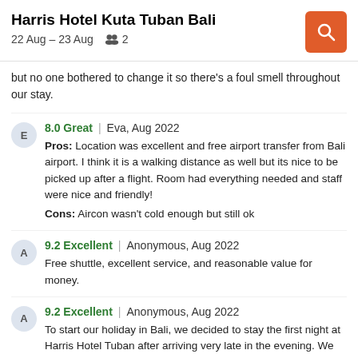Harris Hotel Kuta Tuban Bali | 22 Aug – 23 Aug | 2
but no one bothered to change it so there's a foul smell throughout our stay.
8.0 Great | Eva, Aug 2022
Pros: Location was excellent and free airport transfer from Bali airport. I think it is a walking distance as well but its nice to be picked up after a flight. Room had everything needed and staff were nice and friendly!
Cons: Aircon wasn't cold enough but still ok
9.2 Excellent | Anonymous, Aug 2022
Free shuttle, excellent service, and reasonable value for money.
9.2 Excellent | Anonymous, Aug 2022
To start our holiday in Bali, we decided to stay the first night at Harris Hotel Tuban after arriving very late in the evening. We booked a suite which was located along side the pool. The room was well equiped, large and a great location within the grounds of the hotel. The free airport shuttle was much